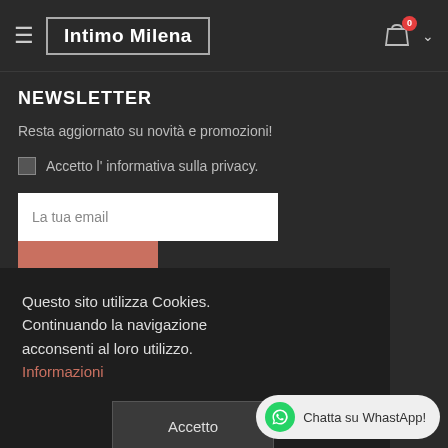Intimo Milena
NEWSLETTER
Resta aggiornato su novità e promozioni!
Accetto l' informativa sulla privacy.
La tua email
Questo sito utilizza Cookies. Continuando la navigazione acconsenti al loro utilizzo. Informazioni
Accetto
Chatta su WhastApp!